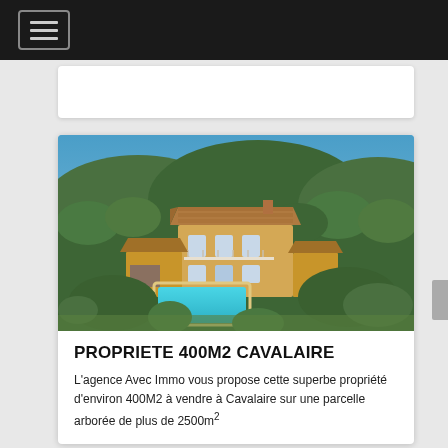[Figure (screenshot): Top navigation bar with dark background and hamburger menu icon on the left]
[Figure (photo): Aerial photo of a large Provençal-style property with yellow facade, tiled roof, swimming pool, and lush green tree-covered grounds, blue sky and hills in background]
PROPRIETE 400M2 CAVALAIRE
L'agence Avec Immo vous propose cette superbe propriété d'environ 400M2 à vendre à Cavalaire sur une parcelle arborée de plus de 2500m²